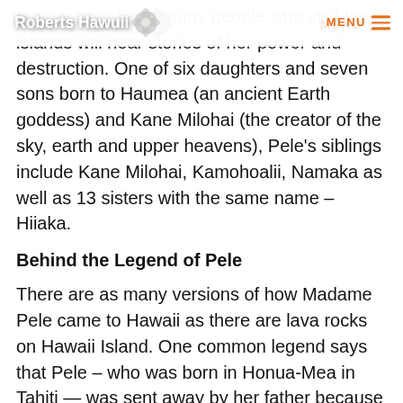Roberts Hawaii MENU
temperament and many people who visit the islands will hear stories of her power and destruction. One of six daughters and seven sons born to Haumea (an ancient Earth goddess) and Kane Milohai (the creator of the sky, earth and upper heavens), Pele's siblings include Kane Milohai, Kamohoalii, Namaka as well as 13 sisters with the same name – Hiiaka.
Behind the Legend of Pele
There are as many versions of how Madame Pele came to Hawaii as there are lava rocks on Hawaii Island. One common legend says that Pele – who was born in Honua-Mea in Tahiti — was sent away by her father because of her difficult temper and for seducing her sister, Namakaokahai's,